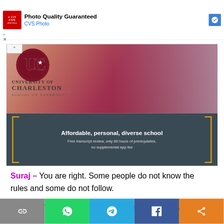[Figure (advertisement): CVS Pharmacy ad banner with red CVS logo box, text 'Photo Quality Guaranteed' and 'CVS Photo' in blue, and a blue navigation arrow icon on the right.]
[Figure (advertisement): University of Charleston School of Pharmacy advertisement showing UC logo on a red/maroon background with a smiling Black man in a white coat and stethoscope. Bottom dark banner reads 'Affordable, personal, diverse school. Free transcript review, only 60 hours of prerequisites, no supplemental app fee' with gold brackets.]
Suraj – You are right. Some people do not know the rules and some do not follow.
Chand – Yes, listen to this news, the death of two small children!
[Figure (infographic): Bottom social share bar with five colored buttons: grey link icon, green WhatsApp icon, blue Telegram icon, dark blue Facebook icon, orange share icon.]